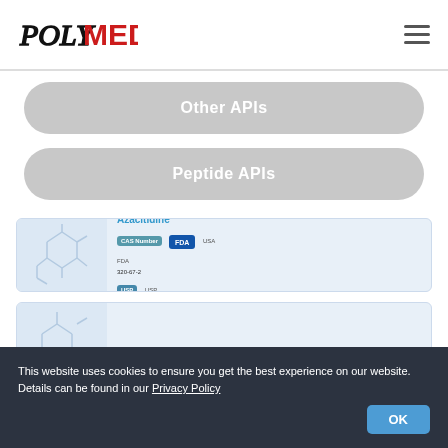[Figure (logo): PolyMed logo with POLY in italic serif and MED in bold red sans-serif]
Other APIs
Peptide APIs
[Figure (illustration): Azacitidine product card with chemical structure, CAS Number badge showing 320-67-2, FDA USA badge, and USP badge]
[Figure (illustration): Partial second product card with chemical structure visible]
This website uses cookies to ensure you get the best experience on our website. Details can be found in our Privacy Policy